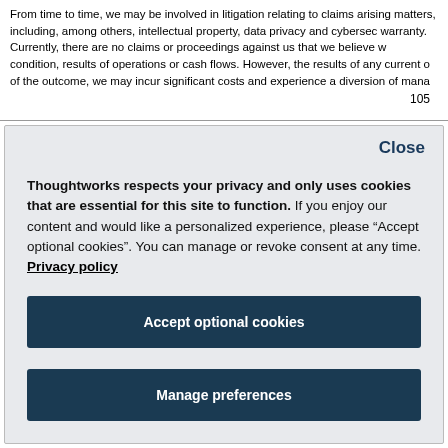From time to time, we may be involved in litigation relating to claims arising matters, including, among others, intellectual property, data privacy and cybersecurity warranty. Currently, there are no claims or proceedings against us that we believe will condition, results of operations or cash flows. However, the results of any current of the outcome, we may incur significant costs and experience a diversion of management
105
Close
Thoughtworks respects your privacy and only uses cookies that are essential for this site to function. If you enjoy our content and would like a personalized experience, please “Accept optional cookies”. You can manage or revoke consent at any time. Privacy policy
Accept optional cookies
Manage preferences